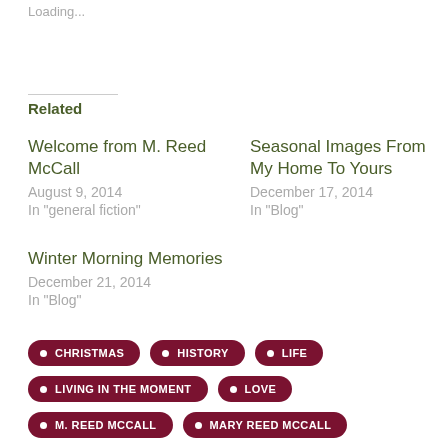Loading...
Related
Welcome from M. Reed McCall
August 9, 2014
In "general fiction"
Seasonal Images From My Home To Yours
December 17, 2014
In "Blog"
Winter Morning Memories
December 21, 2014
In "Blog"
CHRISTMAS
HISTORY
LIFE
LIVING IN THE MOMENT
LOVE
M. REED MCCALL
MARY REED MCCALL
MEDIEVAL ROMANCE
MEMORY